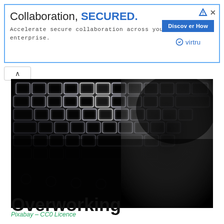[Figure (infographic): Advertisement banner for Virtru. Shows 'Collaboration, SECURED.' headline with a 'Discover How' button, Virtru branding, and tagline 'Accelerate secure collaboration across your enterprise.']
[Figure (photo): Black and white glowing/neon stylized photo of hands typing on a laptop keyboard, dramatic dark background with white luminous key outlines.]
Pixabay – CC0 Licence
Overworking